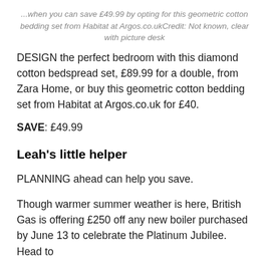...when you can save £49.99 by opting for this geometric cotton bedding set from Habitat at Argos.co.ukCredit: Not known, clear with picture desk
DESIGN the perfect bedroom with this diamond cotton bedspread set, £89.99 for a double, from Zara Home, or buy this geometric cotton bedding set from Habitat at Argos.co.uk for £40.
SAVE: £49.99
Leah's little helper
PLANNING ahead can help you save.
Though warmer summer weather is here, British Gas is offering £250 off any new boiler purchased by June 13 to celebrate the Platinum Jubilee. Head to